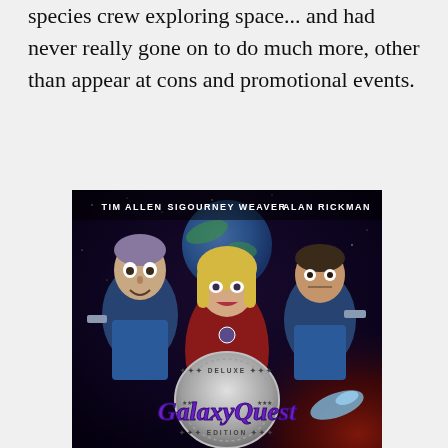species crew exploring space... and had never really gone on to do much more, other than appear at cons and promotional events.
[Figure (photo): Galaxy Quest Deluxe Edition movie poster featuring Tim Allen, Sigourney Weaver, and Alan Rickman in sci-fi costumes against a space background with the Galaxy Quest logo at the bottom.]